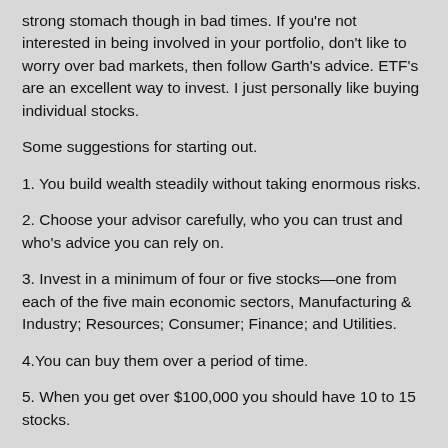strong stomach though in bad times. If you're not interested in being involved in your portfolio, don't like to worry over bad markets, then follow Garth's advice. ETF's are an excellent way to invest. I just personally like buying individual stocks.
Some suggestions for starting out.
1. You build wealth steadily without taking enormous risks.
2. Choose your advisor carefully, who you can trust and who's advice you can rely on.
3. Invest in a minimum of four or five stocks—one from each of the five main economic sectors, Manufacturing & Industry; Resources; Consumer; Finance; and Utilities.
4.You can buy them over a period of time.
5. When you get over $100,000 you should have 10 to 15 stocks.
And buy well established companies. Be patient. It takes a life time to accumulate wealth.
And remember you get what you pay for with free advice. A good advisor